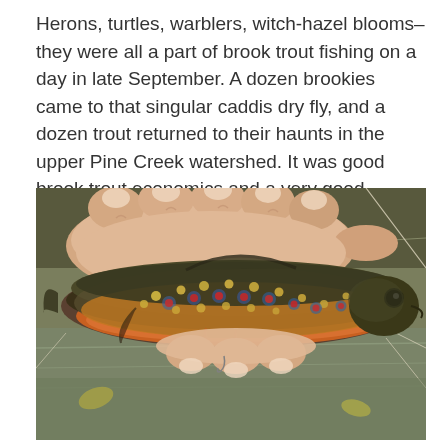Herons, turtles, warblers, witch-hazel blooms– they were all a part of brook trout fishing on a day in late September. A dozen brookies came to that singular caddis dry fly, and a dozen trout returned to their haunts in the upper Pine Creek watershed. It was good brook trout economics and a very good exchange.
[Figure (photo): Close-up photograph of a person's hand holding a brook trout (Salvelinus fontinalis) above water. The fish shows characteristic colorful markings including orange-red belly, yellow spots, and blue-ringed red spots along its sides. The fish appears to be held gently just above the stream surface, with water and rocks visible in the background.]